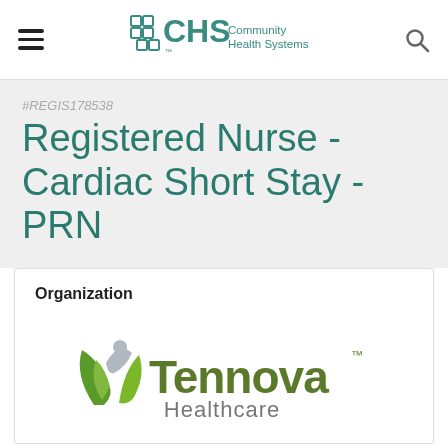CHS Community Health Systems
#REGIS178538
Registered Nurse - Cardiac Short Stay - PRN
Organization
[Figure (logo): Tennova Healthcare logo with green leaf/figure icon and olive-green Tennova text with gray Healthcare underneath]